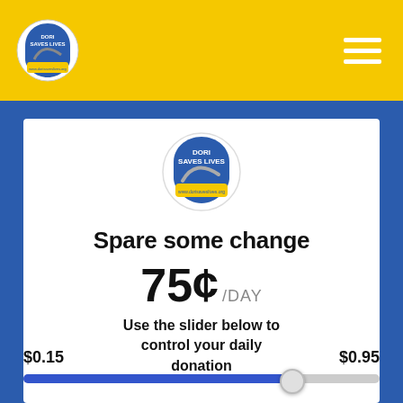Dori Saves Lives — navigation header with logo and hamburger menu
[Figure (logo): Dori Saves Lives shield logo — blue shield with road graphic and yellow banner, www.dorisaveslives.org]
Spare some change
75¢ /DAY
Use the slider below to control your daily donation
$0.15    $0.95